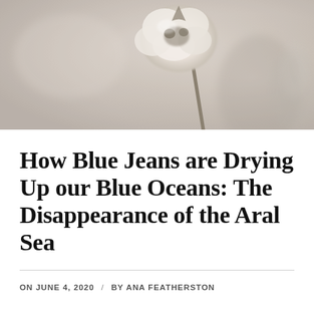[Figure (photo): Close-up photograph of a dried cotton boll on a stem against a light beige/grey blurred background]
How Blue Jeans are Drying Up our Blue Oceans: The Disappearance of the Aral Sea
ON JUNE 4, 2020  /  BY ANA FEATHERSTON